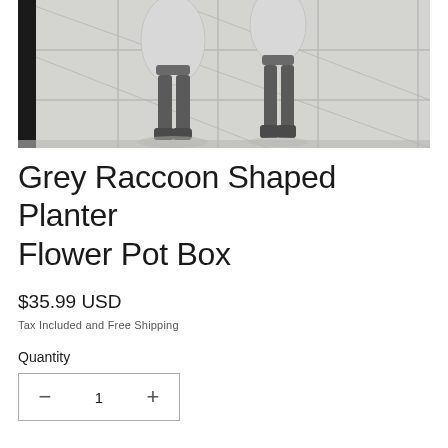[Figure (photo): Photo of grey raccoon-shaped planter flower pot boxes standing on light grey tiled outdoor floor, showing legs and body silhouette from close angle]
Grey Raccoon Shaped Planter Flower Pot Box
$35.99 USD
Tax Included and Free Shipping
Quantity